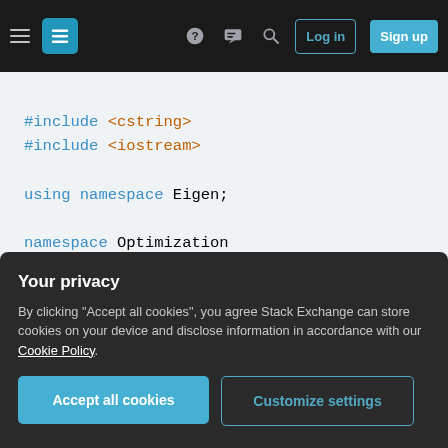Stack Exchange navigation bar with hamburger menu, logo, help, chat, search icons, Log in and Sign up buttons
#include <cstring>
#include <iostream>

using namespace Eigen;

namespace Optimization
{
    template<int nDims>
    class NelderMead {
    public:
        typedef Array<double, 1, nDims> Fun
        typedef std::function<double(Functi

        NelderMead(ErrorFunction errorFunct
                   double minError, double
Your privacy

By clicking "Accept all cookies", you agree Stack Exchange can store cookies on your device and disclose information in accordance with our Cookie Policy.
Accept all cookies   Customize settings